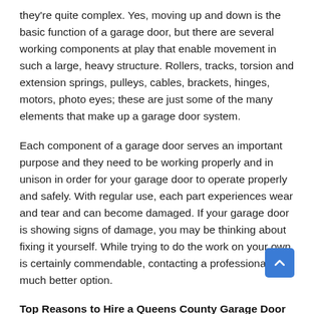they're quite complex. Yes, moving up and down is the basic function of a garage door, but there are several working components at play that enable movement in such a large, heavy structure. Rollers, tracks, torsion and extension springs, pulleys, cables, brackets, hinges, motors, photo eyes; these are just some of the many elements that make up a garage door system.
Each component of a garage door serves an important purpose and they need to be working properly and in unison in order for your garage door to operate properly and safely. With regular use, each part experiences wear and tear and can become damaged. If your garage door is showing signs of damage, you may be thinking about fixing it yourself. While trying to do the work on your own is certainly commendable, contacting a professional is a much better option.
Top Reasons to Hire a Queens County Garage Door Repair